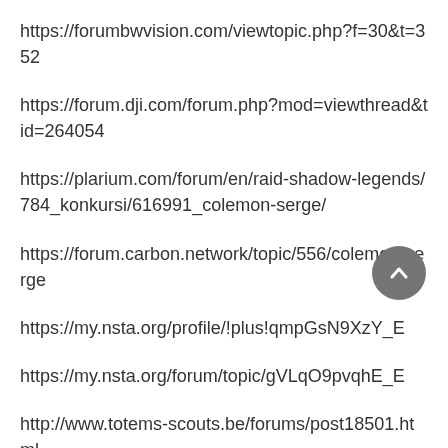https://forumbwvision.com/viewtopic.php?f=30&t=352
https://forum.dji.com/forum.php?mod=viewthread&tid=264054
https://plarium.com/forum/en/raid-shadow-legends/784_konkursi/616991_colemon-serge/
https://forum.carbon.network/topic/556/colemon-serge
https://my.nsta.org/profile/!plus!qmpGsN9XzY_E
https://my.nsta.org/forum/topic/gVLqO9pvqhE_E
http://www.totems-scouts.be/forums/post18501.html